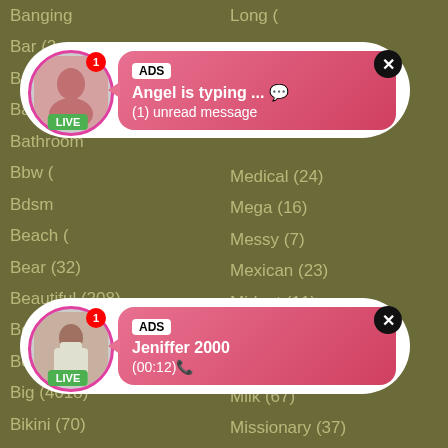Banging
Bar (2
Barely (2)
Bathroom
Bbw (
Bdsm
Beach (
Bear (32)
Beautiful (208)
Bedroom (20)
Behind (32)
Big (4018)
Bikini (70)
Bisexual (169)
Bitch (116)
Bizarre (0)
Long (
Medical (24)
Mega (16)
Messy (7)
Mexican (23)
Midget (11)
Milf (2727)
Military (4)
Milk (67)
Missionary (37)
[Figure (screenshot): Ad notification card 1: Avatar with LIVE badge and red notification dot, pink gradient bubble showing 'ADS' label, 'Angel is typing ... 💬', '(1) unread message', close button]
[Figure (screenshot): Ad notification card 2: Avatar with LIVE badge and red notification dot, pink gradient bubble showing 'ADS' label, 'Jeniffer 2000', '(00:12)📞', close button]